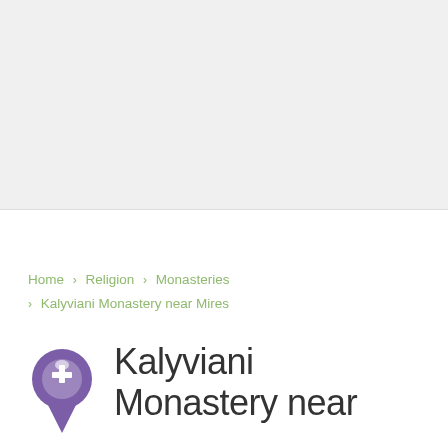[Figure (other): Gray background placeholder area representing a map or image region at the top of the page]
Home › Religion › Monasteries › Kalyviani Monastery near Mires
Kalyviani Monastery near